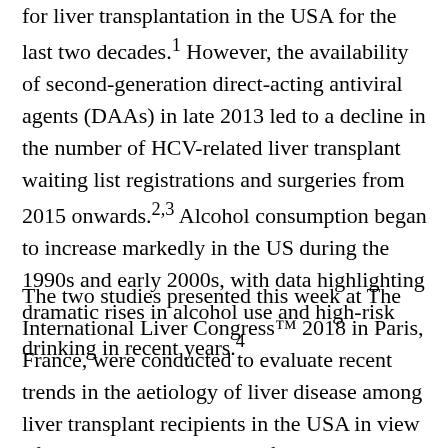for liver transplantation in the USA for the last two decades.1 However, the availability of second-generation direct-acting antiviral agents (DAAs) in late 2013 led to a decline in the number of HCV-related liver transplant waiting list registrations and surgeries from 2015 onwards.2,3 Alcohol consumption began to increase markedly in the US during the 1990s and early 2000s, with data highlighting dramatic rises in alcohol use and high-risk drinking in recent years.4
The two studies presented this week at The International Liver Congress™ 2018 in Paris, France, were conducted to evaluate recent trends in the aetiology of liver disease among liver transplant recipients in the USA in view of the changing landscape of potential risk factors. In the first study, data from the United Network for Organ Sharing (UNOS) between 2005-2016 were analyzed, looking at four indications for chronic liver disease: alcoholic liver disease (ALD), NASH, HCV infection, and HCV/ALD combined